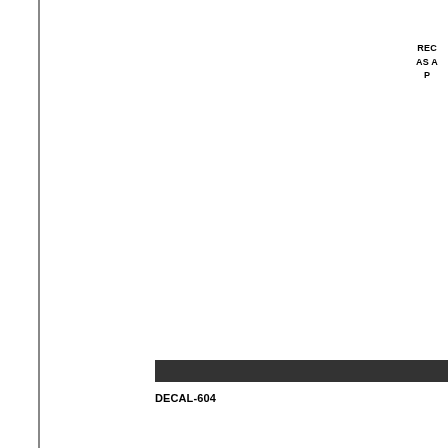REC
AS A
P
[Figure (other): Dark horizontal bar spanning right portion of page near bottom]
DECAL-604